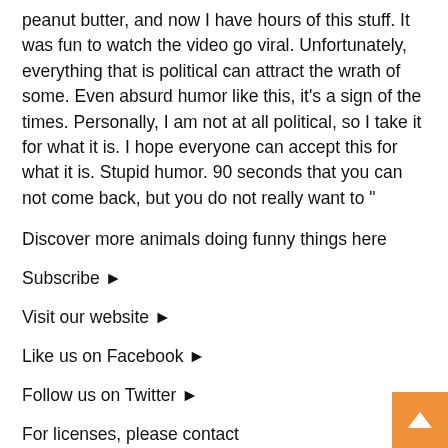peanut butter, and now I have hours of this stuff. It was fun to watch the video go viral. Unfortunately, everything that is political can attract the wrath of some. Even absurd humor like this, it's a sign of the times. Personally, I am not at all political, so I take it for what it is. I hope everyone can accept this for what it is. Stupid humor. 90 seconds that you can not come back, but you do not really want to "
Discover more animals doing funny things here
Subscribe ►
Visit our website ►
Like us on Facebook ►
Follow us on Twitter ►
For licenses, please contact